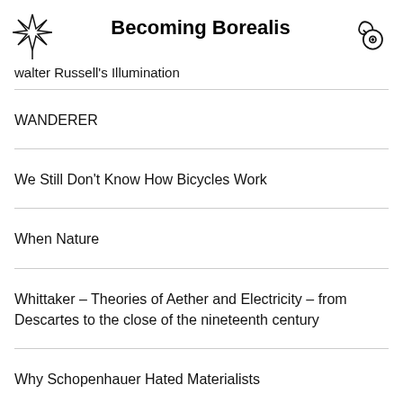Becoming Borealis
walter Russell's Illumination
WANDERER
We Still Don't Know How Bicycles Work
When Nature
Whittaker – Theories of Aether and Electricity – from Descartes to the close of the nineteenth century
Why Schopenhauer Hated Materialists